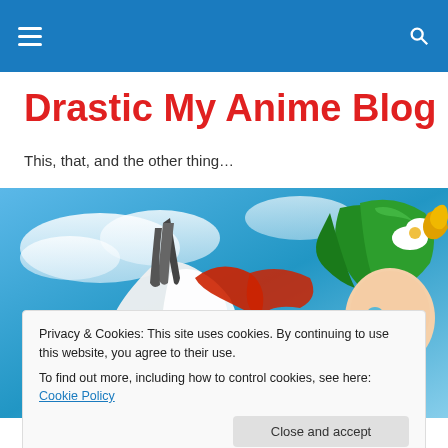Navigation bar with hamburger menu and search icon
Drastic My Anime Blog
This, that, and the other thing…
[Figure (illustration): Anime character with green hair, wearing a white dress with dark trim and a red sash, floating against a blue sky background]
Privacy & Cookies: This site uses cookies. By continuing to use this website, you agree to their use.
To find out more, including how to control cookies, see here: Cookie Policy
Close and accept
By TheBigN